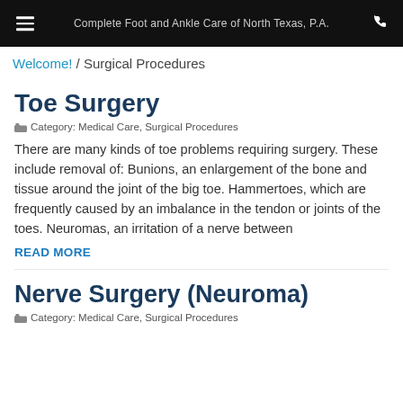Complete Foot and Ankle Care of North Texas, P.A.
Welcome! / Surgical Procedures
Toe Surgery
Category: Medical Care, Surgical Procedures
There are many kinds of toe problems requiring surgery. These include removal of: Bunions, an enlargement of the bone and tissue around the joint of the big toe. Hammertoes, which are frequently caused by an imbalance in the tendon or joints of the toes. Neuromas, an irritation of a nerve between
READ MORE
Nerve Surgery (Neuroma)
Category: Medical Care, Surgical Procedures